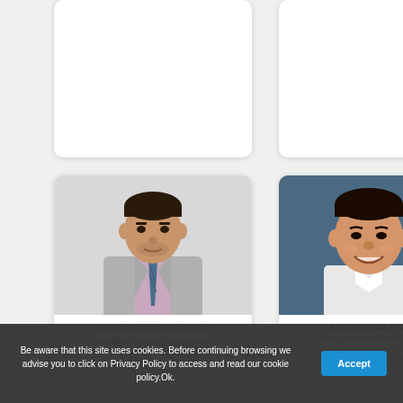[Figure (photo): Partial view of two person profile cards at the top of the page (mostly cut off)]
[Figure (photo): Profile photo of Mostafa Norizadehtazehkand, a man in a gray suit with striped tie]
Mostafa Norizadehtazehkand
Assistant. Professor. Department of
Pharmaceutical Biotechnology, Faculty of
[Figure (photo): Profile photo of Eric Santos Par, a smiling man against a blue background]
ERIC SANTOS PAR
Dean, College of Business Ec
concurrent Director for Re
Be aware that this site uses cookies. Before continuing browsing we advise you to click on Privacy Policy to access and read our cookie policy.Ok.